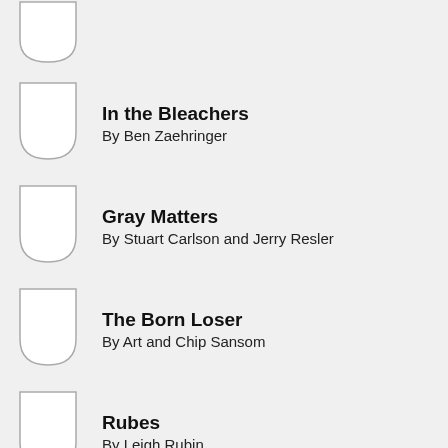In the Bleachers
By Ben Zaehringer
Gray Matters
By Stuart Carlson and Jerry Resler
The Born Loser
By Art and Chip Sansom
Rubes
By Leigh Rubin
Strange Brew